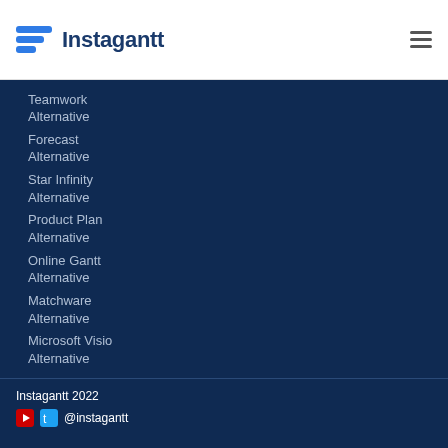Instagantt
Teamwork Alternative
Forecast Alternative
Star Infinity Alternative
Product Plan Alternative
Online Gantt Alternative
Matchware Alternative
Microsoft Visio Alternative
Instagantt 2022 @instagantt